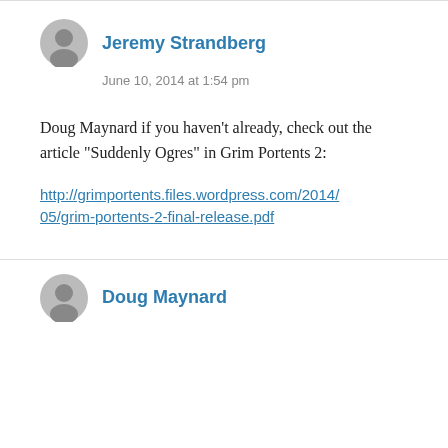Jeremy Strandberg
June 10, 2014 at 1:54 pm
Doug Maynard if you haven't already, check out the article "Suddenly Ogres" in Grim Portents 2:
http://grimportents.files.wordpress.com/2014/05/grim-portents-2-final-release.pdf
Doug Maynard